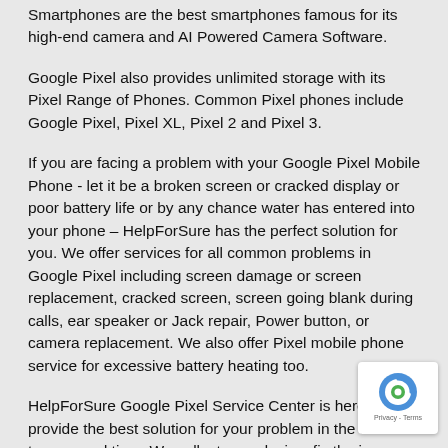Smartphones are the best smartphones famous for its high-end camera and AI Powered Camera Software.
Google Pixel also provides unlimited storage with its Pixel Range of Phones. Common Pixel phones include Google Pixel, Pixel XL, Pixel 2 and Pixel 3.
If you are facing a problem with your Google Pixel Mobile Phone - let it be a broken screen or cracked display or poor battery life or by any chance water has entered into your phone – HelpForSure has the perfect solution for you. We offer services for all common problems in Google Pixel including screen damage or screen replacement, cracked screen, screen going blank during calls, ear speaker or Jack repair, Power button, or camera replacement. We also offer Pixel mobile phone service for excessive battery heating too.
HelpForSure Google Pixel Service Center is here to provide the best solution for your problem in the least turn around time. We collect your device, fix the issue, and deliver it back at your doorstep. Our Google Pixel Service Center is available in noida and pick-ups for your broken phone is available at your convenience at your doorstep anywhere in noida
Located in Uttar Pradesh, Noida is a bustling city and one of the